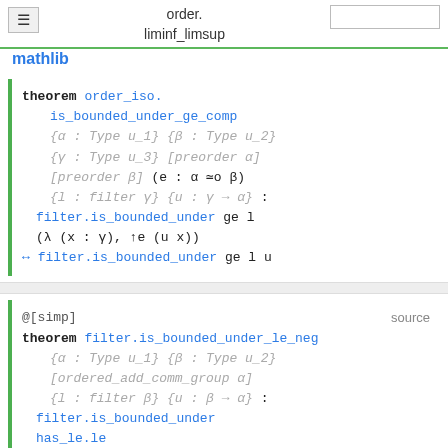≡  order.
   liminf_limsup
mathlib
theorem order_iso.
    is_bounded_under_ge_comp
    {α : Type u_1} {β : Type u_2}
    {γ : Type u_3} [preorder α]
    [preorder β] (e : α ≃o β)
    {l : filter γ} {u : γ → α} :
  filter.is_bounded_under ge l
    (λ (x : γ), ↑e (u x))
  ↔ filter.is_bounded_under ge l u
@[simp]                                    source
theorem filter.is_bounded_under_le_neg
    {α : Type u_1} {β : Type u_2}
    [ordered_add_comm_group α]
    {l : filter β} {u : β → α} :
  filter.is_bounded_under
    has_le.le